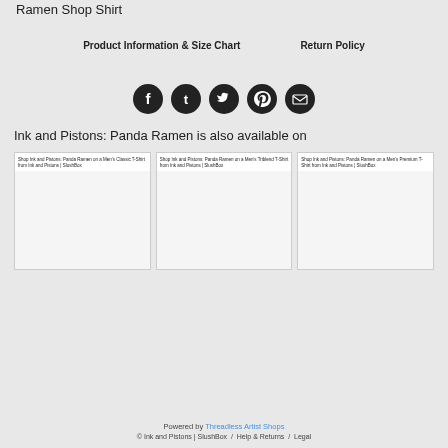Ramen Shop Shirt
Product Information & Size Chart     Return Policy
[Figure (infographic): Row of five circular social media share icons (Facebook, Tumblr, Twitter, Pinterest, Email) in dark/black color on grey background]
Ink and Pistons: Panda Ramen is also available on
[Figure (screenshot): Three product card thumbnails side by side: Shop Ink and Pistons: Panda Ramen on a Men's Classic T-Shirt from Ink and Pistons | SlushBox; Shop Ink and Pistons: Panda Ramen on a Men's Triblend T-Shirt from Ink and Pistons | SlushBox; Shop Ink and Pistons: Panda Ramen on a Men's Premium T-Shirt from Ink and Pistons | SlushBox]
Powered by Threadless Artist Shops
© Ink and Pistons | SlushBox / Help & Returns / Legal